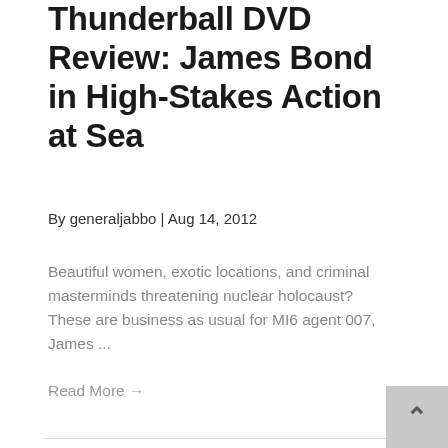Thunderball DVD Review: James Bond in High-Stakes Action at Sea
By generaljabbo | Aug 14, 2012
Beautiful women, exotic locations, and criminal masterminds threatening nuclear holocaust? These are business as usual for MI6 agent 007, James ...
Read More →
[Figure (photo): Movie poster for a James Bond film showing the text EVERYTHING HE TOUCHES in gold letters on a dark background, with figures of a man and a woman visible]